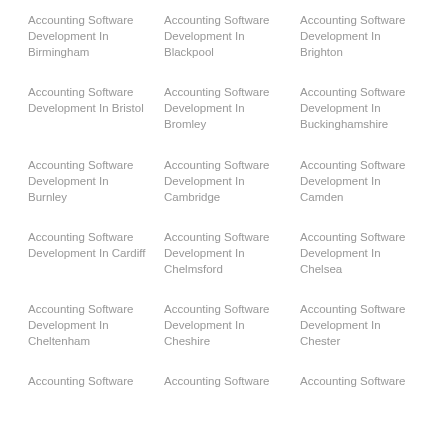Accounting Software Development In Birmingham
Accounting Software Development In Blackpool
Accounting Software Development In Brighton
Accounting Software Development In Bristol
Accounting Software Development In Bromley
Accounting Software Development In Buckinghamshire
Accounting Software Development In Burnley
Accounting Software Development In Cambridge
Accounting Software Development In Camden
Accounting Software Development In Cardiff
Accounting Software Development In Chelmsford
Accounting Software Development In Chelsea
Accounting Software Development In Cheltenham
Accounting Software Development In Cheshire
Accounting Software Development In Chester
Accounting Software
Accounting Software
Accounting Software